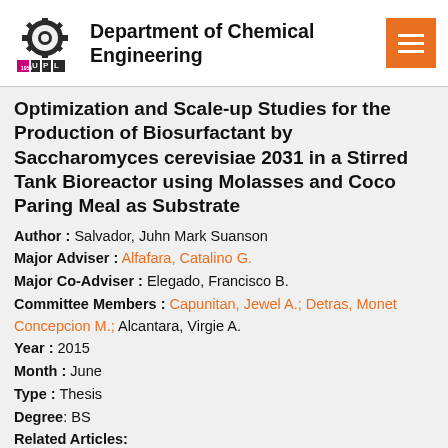Department of Chemical Engineering
Optimization and Scale-up Studies for the Production of Biosurfactant by Saccharomyces cerevisiae 2031 in a Stirred Tank Bioreactor using Molasses and Coco Paring Meal as Substrate
Author : Salvador, Juhn Mark Suanson
Major Adviser : Alfafara, Catalino G.
Major Co-Adviser : Elegado, Francisco B.
Committee Members : Capunitan, Jewel A.; Detras, Monet Concepcion M.; Alcantara, Virgie A.
Year : 2015
Month : June
Type : Thesis
Degree: BS
Related Articles: